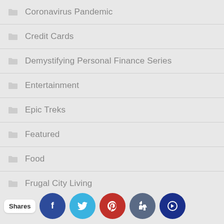Coronavirus Pandemic
Credit Cards
Demystifying Personal Finance Series
Entertainment
Epic Treks
Featured
Food
Frugal City Living
Frugal Homestead Series
Frugal Home Sniffs